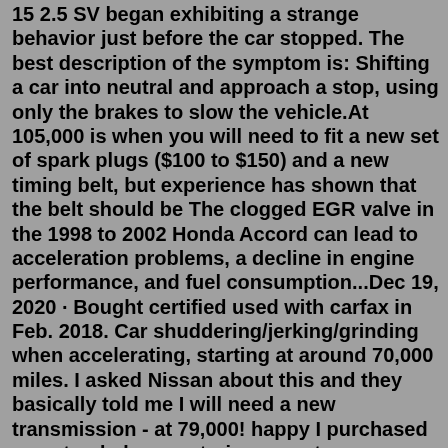15 2.5 SV began exhibiting a strange behavior just before the car stopped. The best description of the symptom is: Shifting a car into neutral and approach a stop, using only the brakes to slow the vehicle.At 105,000 is when you will need to fit a new set of spark plugs ($100 to $150) and a new timing belt, but experience has shown that the belt should be The clogged EGR valve in the 1998 to 2002 Honda Accord can lead to acceleration problems, a decline in engine performance, and fuel consumption...Dec 19, 2020 · Bought certified used with carfax in Feb. 2018. Car shuddering/jerking/grinding when accelerating, starting at around 70,000 miles. I asked Nissan about this and they basically told me I will need a new transmission - at 79,000! happy I purchased an extended power-train warranty, so hopefully it is covered. Should've bought another Honda or Toyota. Mar 15, 2022 · The most common reasons for a Nissan Murano to jerk are dirty filters, dirty and clogged fuel injectors, and a blocked catalytic converter. Some causes take extensive repairs, while you can correct